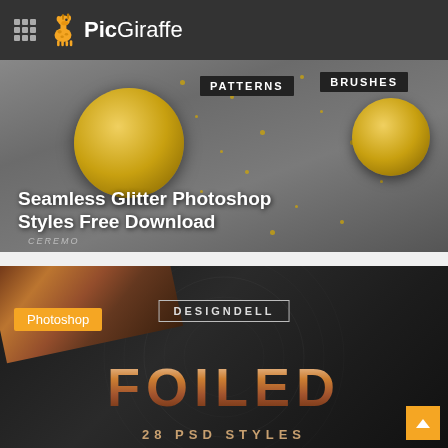PicGiraffe
[Figure (screenshot): Photoshop glitter styles preview with gold circles and PATTERNS and BRUSHES labels on dark background]
Seamless Glitter Photoshop Styles Free Download
[Figure (screenshot): FOILED 28 PSD STYLES product image with copper/bronze foil effect text on dark background, Photoshop badge and DESIGNDELL branding]